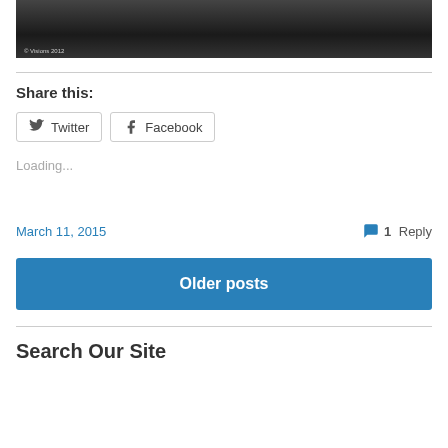[Figure (photo): Cropped black and white photo with watermark '© Visions 2012' in lower left corner]
Share this:
Twitter  Facebook
Loading...
March 11, 2015   1 Reply
Older posts
Search Our Site